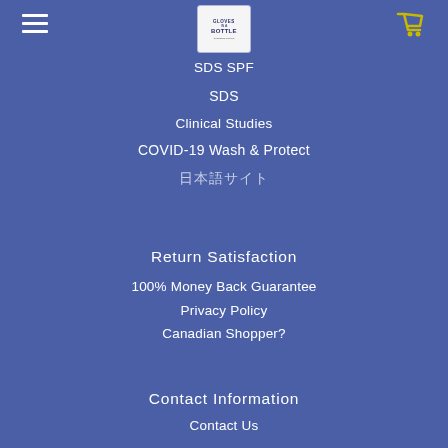[Figure (logo): Gloves in a Bottle logo in a rounded rectangle box]
SDS SPF
SDS
Clinical Studies
COVID-19 Wash & Protect
日本語サイト (Japanese characters)
Return Satisfaction
100% Money Back Guarantee
Privacy Policy
Canadian Shopper?
Contact Information
Contact Us